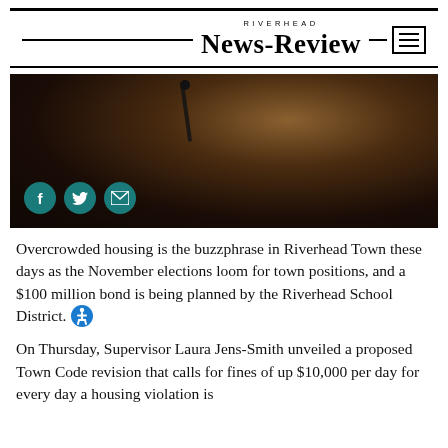RIVERHEAD NEWS-REVIEW
[Figure (photo): Person with long blonde hair speaking at a podium microphone, wearing a dark jacket. Social media icons (Facebook, Twitter, Email) overlaid at bottom left.]
Overcrowded housing is the buzzphrase in Riverhead Town these days as the November elections loom for town positions, and a $100 million bond is being planned by the Riverhead School District.
On Thursday, Supervisor Laura Jens-Smith unveiled a proposed Town Code revision that calls for fines of up $10,000 per day for every day a housing violation is